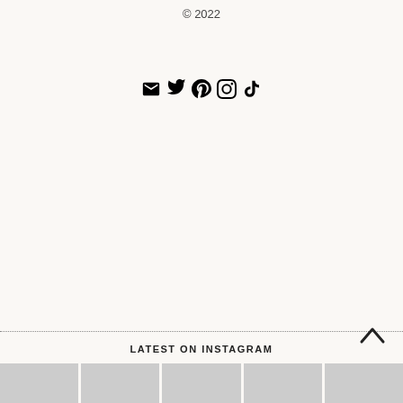© 2022
[Figure (infographic): Social media icons: email, Twitter, Pinterest, Instagram, TikTok]
LATEST ON INSTAGRAM
[Figure (photo): Row of five Instagram thumbnail photos at the bottom of the page]